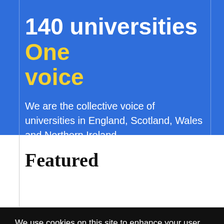140 universities One voice
We are the collective voice of universities in England, Scotland, Wales and Northern Ireland
Featured
We use cookies on this site to enhance your user experience
By clicking the Accept button, you agree to us doing so. More info